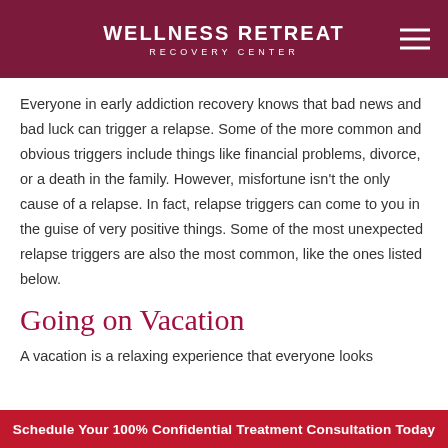WELLNESS RETREAT RECOVERY CENTER
Everyone in early addiction recovery knows that bad news and bad luck can trigger a relapse. Some of the more common and obvious triggers include things like financial problems, divorce, or a death in the family. However, misfortune isn't the only cause of a relapse. In fact, relapse triggers can come to you in the guise of very positive things. Some of the most unexpected relapse triggers are also the most common, like the ones listed below.
Going on Vacation
A vacation is a relaxing experience that everyone looks
Schedule Your 100% Confidential Treatment Consultation Today